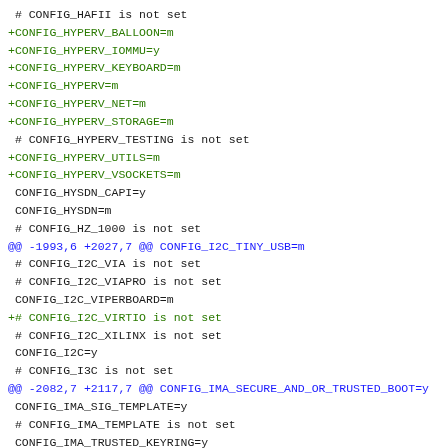# CONFIG_HAFII is not set
+CONFIG_HYPERV_BALLOON=m
+CONFIG_HYPERV_IOMMU=y
+CONFIG_HYPERV_KEYBOARD=m
+CONFIG_HYPERV=m
+CONFIG_HYPERV_NET=m
+CONFIG_HYPERV_STORAGE=m
 # CONFIG_HYPERV_TESTING is not set
+CONFIG_HYPERV_UTILS=m
+CONFIG_HYPERV_VSOCKETS=m
 CONFIG_HYSDN_CAPI=y
 CONFIG_HYSDN=m
 # CONFIG_HZ_1000 is not set
@@ -1993,6 +2027,7 @@ CONFIG_I2C_TINY_USB=m
 # CONFIG_I2C_VIA is not set
 # CONFIG_I2C_VIAPRO is not set
 CONFIG_I2C_VIPERBOARD=m
+# CONFIG_I2C_VIRTIO is not set
 # CONFIG_I2C_XILINX is not set
 CONFIG_I2C=y
 # CONFIG_I3C is not set
@@ -2082,7 +2117,7 @@ CONFIG_IMA_SECURE_AND_OR_TRUSTED_BOOT=y
 CONFIG_IMA_SIG_TEMPLATE=y
 # CONFIG_IMA_TEMPLATE is not set
 CONFIG_IMA_TRUSTED_KEYRING=y
 # CONFIG_IMA_WRITE_POLICY is not set